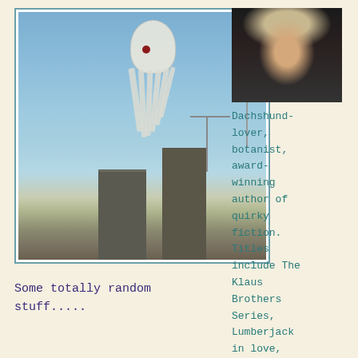[Figure (photo): A white octopus-shaped kite flying in a blue sky above construction buildings and cranes]
[Figure (photo): Profile photo of a woman with curly blonde hair and glasses wearing a black top]
Dachshund-lover, botanist, award-winning author of quirky fiction. Titles include The Klaus Brothers Series, Lumberjack in Love,
Some totally random stuff.....